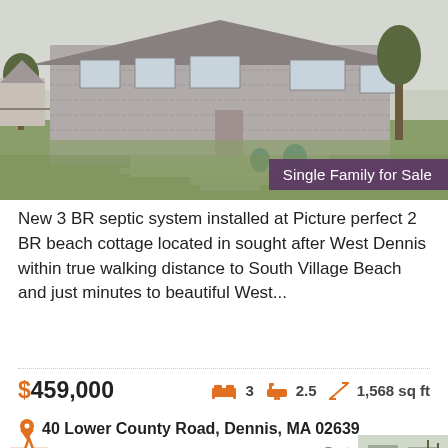[Figure (photo): Exterior photo of a small gray shingle beach cottage with a wooden deck and green lawn, overcast sky]
Single Family for Sale
New 3 BR septic system installed at Picture perfect 2 BR beach cottage located in sought after West Dennis within true walking distance to South Village Beach and just minutes to beautiful West...
$459,000  🛏3  🛁2.5  ↕ 1,568 sq ft
📍 40 Lower County Road, Dennis, MA 02639
Posted on 1/20/19